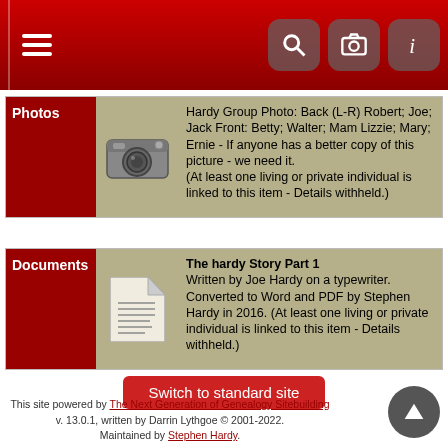Navigation header with hamburger menu and icons for search, camera, and info
| Category | Icon | Description |
| --- | --- | --- |
| Photos | [camera icon] | Hardy Group Photo: Back (L-R) Robert; Joe; Jack Front: Betty; Walter; Mam Lizzie; Mary; Ernie - If anyone has a better copy of this picture - we need it. (At least one living or private individual is linked to this item - Details withheld.) |
| Category | Icon | Description |
| --- | --- | --- |
| Documents | [document icon] | The hardy Story Part 1 Written by Joe Hardy on a typewriter. Converted to Word and PDF by Stephen Hardy in 2016. (At least one living or private individual is linked to this item - Details withheld.) |
Switch to standard site
This site powered by The Next Generation of Genealogy Sitebuilding v. 13.0.1, written by Darrin Lythgoe © 2001-2022. Maintained by Stephen Hardy.